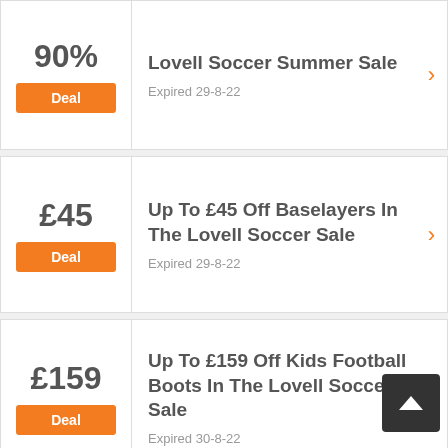90%
Deal
Lovell Soccer Summer Sale
Expired 29-8-22
£45
Deal
Up To £45 Off Baselayers In The Lovell Soccer Sale
Expired 29-8-22
£159
Deal
Up To £159 Off Kids Football Boots In The Lovell Soccer Sale
Expired 30-8-22